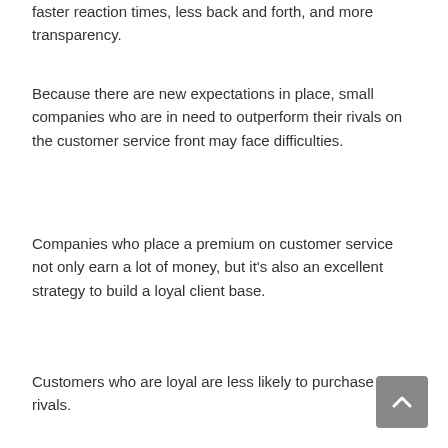faster reaction times, less back and forth, and more transparency.
Because there are new expectations in place, small companies who are in need to outperform their rivals on the customer service front may face difficulties.
Companies who place a premium on customer service not only earn a lot of money, but it's also an excellent strategy to build a loyal client base.
Customers who are loyal are less likely to purchase from rivals.